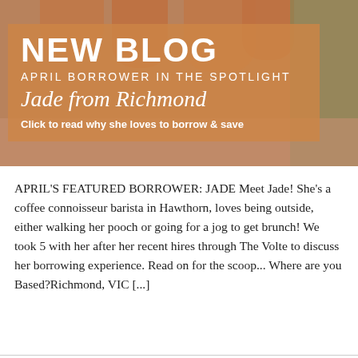[Figure (photo): Photo of feet/sandals on a doorstep with grass in background, overlaid with orange-tinted banner reading NEW BLOG / APRIL BORROWER IN THE SPOTLIGHT / Jade from Richmond / Click to read why she loves to borrow & save]
APRIL'S FEATURED BORROWER: JADE Meet Jade! She's a coffee connoisseur barista in Hawthorn, loves being outside, either walking her pooch or going for a jog to get brunch! We took 5 with her after her recent hires through The Volte to discuss her borrowing experience. Read on for the scoop... Where are you Based?Richmond, VIC [...]